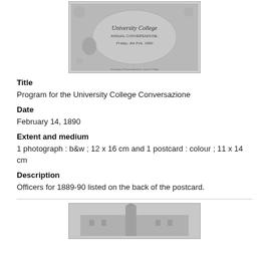[Figure (photo): Black and white photograph of University College Annual Conversazione program cover, Friday 4th Feb 1890, with ornate illustrations.]
Title
Program for the University College Conversazione
Date
February 14, 1890
Extent and medium
1 photograph : b&w ; 12 x 16 cm and 1 postcard : colour ; 11 x 14 cm
Description
Officers for 1889-90 listed on the back of the postcard.
[Figure (photo): Black and white photograph of a building, partially visible at bottom of page.]